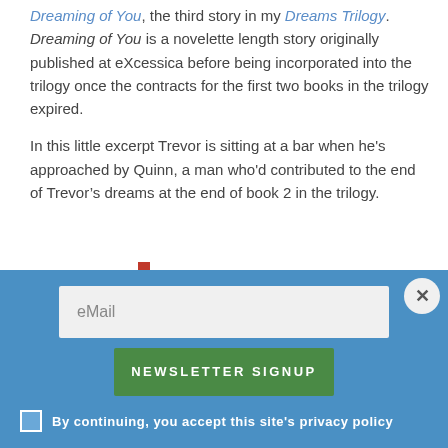Dreaming of You, the third story in my Dreams Trilogy. Dreaming of You is a novelette length story originally published at eXcessica before being incorporated into the trilogy once the contracts for the first two books in the trilogy expired.
In this little excerpt Trevor is sitting at a bar when he's approached by Quinn, a man who'd contributed to the end of Trevor's dreams at the end of book 2 in the trilogy.
[Figure (other): Email newsletter signup popup overlay with blue background, email input field, green NEWSLETTER SIGNUP button, checkbox with privacy policy text, and close button]